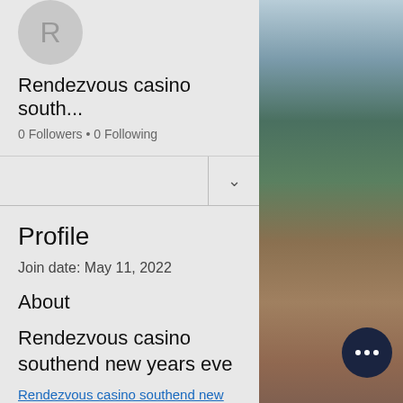[Figure (illustration): Avatar circle with letter R initial]
Rendezvous casino south...
0 Followers • 0 Following
Profile
Join date: May 11, 2022
About
Rendezvous casino southend new years eve
Rendezvous casino southend new yea
[Figure (photo): Outdoor beach/dune landscape photo on the right side of the screen]